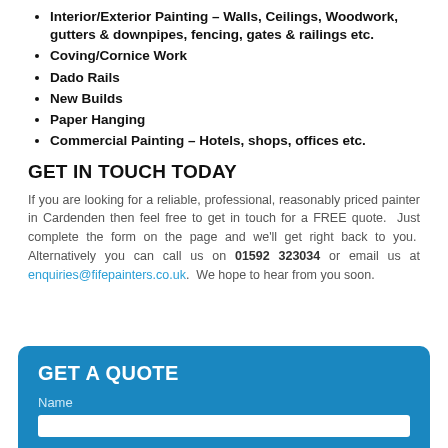Interior/Exterior Painting – Walls, Ceilings, Woodwork, gutters & downpipes, fencing, gates & railings etc.
Coving/Cornice Work
Dado Rails
New Builds
Paper Hanging
Commercial Painting – Hotels, shops, offices etc.
GET IN TOUCH TODAY
If you are looking for a reliable, professional, reasonably priced painter in Cardenden then feel free to get in touch for a FREE quote. Just complete the form on the page and we'll get right back to you. Alternatively you can call us on 01592 323034 or email us at enquiries@fifepainters.co.uk. We hope to hear from you soon.
GET A QUOTE
Name